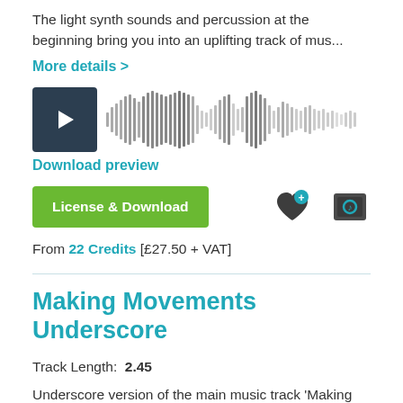The light synth sounds and percussion at the beginning bring you into an uplifting track of mus...
More details >
[Figure (other): Audio player with dark play button and waveform visualization]
Download preview
License & Download
From 22 Credits [£27.50 + VAT]
Making Movements Underscore
Track Length:  2.45
Underscore version of the main music track 'Making